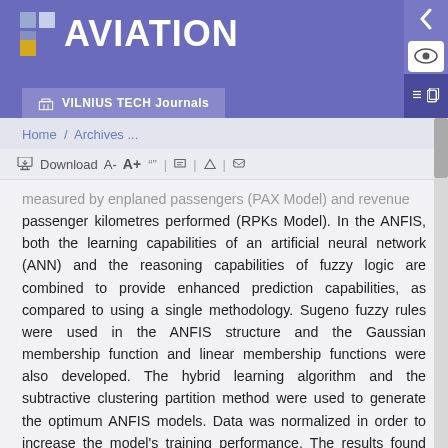AVIATION — VILNIUS TECH Journals
Home / Archives ...
Download A- A+ “” | edit | comment | print | email
measured by enplaned passengers (PAX Model) and revenue passenger kilometres performed (RPKs Model). In the ANFIS, both the learning capabilities of an artificial neural network (ANN) and the reasoning capabilities of fuzzy logic are combined to provide enhanced prediction capabilities, as compared to using a single methodology. Sugeno fuzzy rules were used in the ANFIS structure and the Gaussian membership function and linear membership functions were also developed. The hybrid learning algorithm and the subtractive clustering partition method were used to generate the optimum ANFIS models. Data was normalized in order to increase the model’s training performance. The results found that the mean absolute percentage error (MAPE) for the overall data set of the PAX and RPKs models was